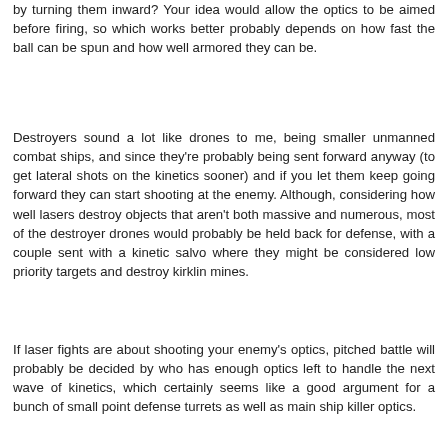by turning them inward? Your idea would allow the optics to be aimed before firing, so which works better probably depends on how fast the ball can be spun and how well armored they can be.
Destroyers sound a lot like drones to me, being smaller unmanned combat ships, and since they're probably being sent forward anyway (to get lateral shots on the kinetics sooner) and if you let them keep going forward they can start shooting at the enemy. Although, considering how well lasers destroy objects that aren't both massive and numerous, most of the destroyer drones would probably be held back for defense, with a couple sent with a kinetic salvo where they might be considered low priority targets and destroy kirklin mines.
If laser fights are about shooting your enemy's optics, pitched battle will probably be decided by who has enough optics left to handle the next wave of kinetics, which certainly seems like a good argument for a bunch of small point defense turrets as well as main ship killer optics.